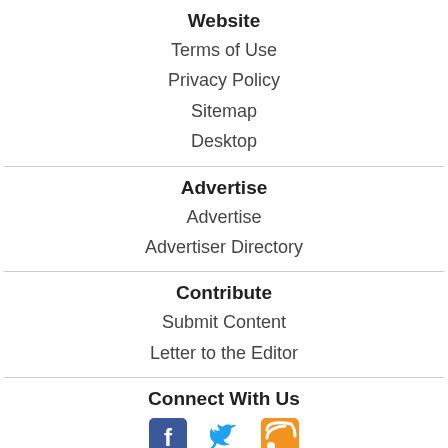Website
Terms of Use
Privacy Policy
Sitemap
Desktop
Advertise
Advertise
Advertiser Directory
Contribute
Submit Content
Letter to the Editor
Connect With Us
[Figure (illustration): Social media icons: Facebook, Twitter, RSS feed]